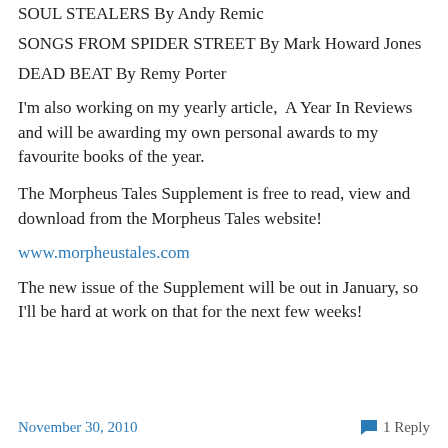SOUL STEALERS By Andy Remic
SONGS FROM SPIDER STREET By Mark Howard Jones
DEAD BEAT By Remy Porter
I'm also working on my yearly article,  A Year In Reviews and will be awarding my own personal awards to my favourite books of the year.
The Morpheus Tales Supplement is free to read, view and download from the Morpheus Tales website!
www.morpheustales.com
The new issue of the Supplement will be out in January, so I'll be hard at work on that for the next few weeks!
November 30, 2010   1 Reply